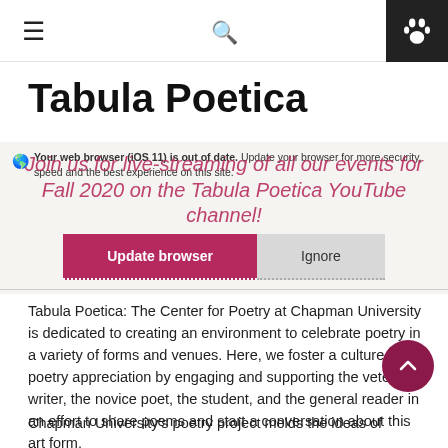☰   🔍   🐾
Tabula Poetica
Your web browser (iOS 11) is out of date. Update your browser for more security, speed and the best experience on this site.
Join us for live-streaming of all our events for Fall 2020 on the Tabula Poetica YouTube channel!
Update browser   Ignore
Tabula Poetica: The Center for Poetry at Chapman University is dedicated to creating an environment to celebrate poetry in a variety of forms and venues. Here, we foster a culture of poetry appreciation by engaging and supporting the veteran writer, the novice poet, the student, and the general reader in an effort to share poems and start a conversation about this art form.
Chapman University's poetry project melds the ideas of